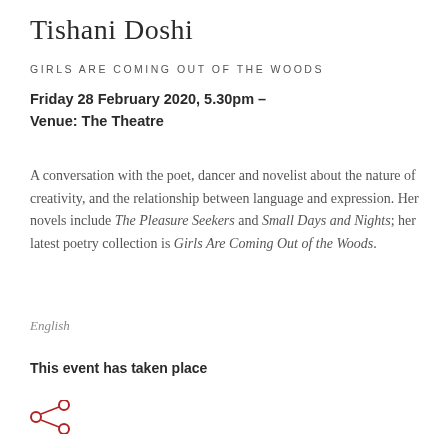Tishani Doshi
GIRLS ARE COMING OUT OF THE WOODS
Friday 28 February 2020, 5.30pm –
Venue: The Theatre
A conversation with the poet, dancer and novelist about the nature of creativity, and the relationship between language and expression. Her novels include The Pleasure Seekers and Small Days and Nights; her latest poetry collection is Girls Are Coming Out of the Woods.
English
This event has taken place
[Figure (illustration): Share icon: three circles connected by lines forming a share/network symbol, in dark red/crimson color]